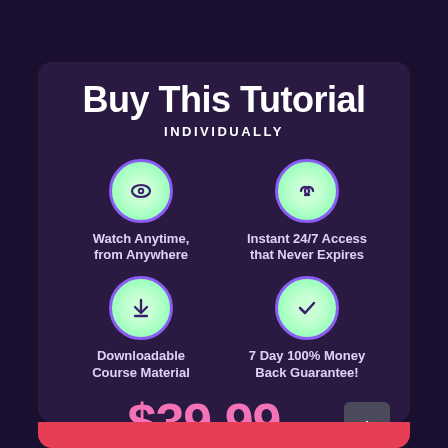Buy This Tutorial
INDIVIDUALLY
[Figure (illustration): Eye icon in green circle with purple border — Watch Anytime, from Anywhere]
Watch Anytime, from Anywhere
[Figure (illustration): Infinity icon in green circle with purple border — Instant 24/7 Access that Never Expires]
Instant 24/7 Access that Never Expires
[Figure (illustration): Download icon in green circle with purple border — Downloadable Course Material]
Downloadable Course Material
[Figure (illustration): Checkmark icon in green circle with purple border — 7 Day 100% Money Back Guarantee!]
7 Day 100% Money Back Guarantee!
$39.99